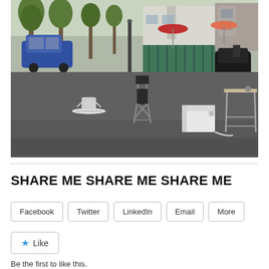[Figure (photo): Outdoor urban scene on a paved plaza or street. Items of furniture scattered on the tarmac: a folding chair with dark seat, a small white baby bouncer/rocker, a white cube-shaped appliance or box with a cord, and a tall narrow table with chrome legs. In the background: trees, parked cars including a blue car on the left, a scooter, a green metal fence, a white building, café umbrellas (red and pink/orange), and pedestrians. Daytime, sunny.]
SHARE ME SHARE ME SHARE ME
Facebook
Twitter
LinkedIn
Email
More
Like
Be the first to like this.